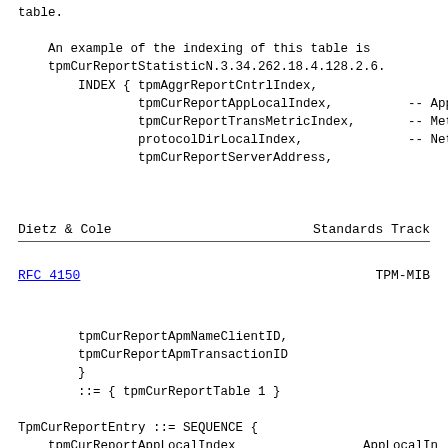table.
An example of the indexing of this table is
tpmCurReportStatisticN.3.34.262.18.4.128.2.6.
INDEX { tpmAggrReportCntrlIndex,
        tpmCurReportAppLocalIndex,          -- App
        tpmCurReportTransMetricIndex,       -- Met
        protocolDirLocalIndex,              -- Net
        tpmCurReportServerAddress,
Dietz & Cole                    Standards Track
RFC 4150                          TPM-MIB
tpmCurReportApmNameClientID,
        tpmCurReportApmTransactionID
        }
        ::= { tpmCurReportTable 1 }

TpmCurReportEntry ::= SEQUENCE {
    tpmCurReportAppLocalIndex                 AppLocalIn
    tpmCurReportTransMetricIndex              TpmTransact
    tpmCurReportServerAddress                 OCTET STRI
    tpmCurReportApmNameClientID               RmonClient
    tpmCurReportApmTransactionID              Unsigned32